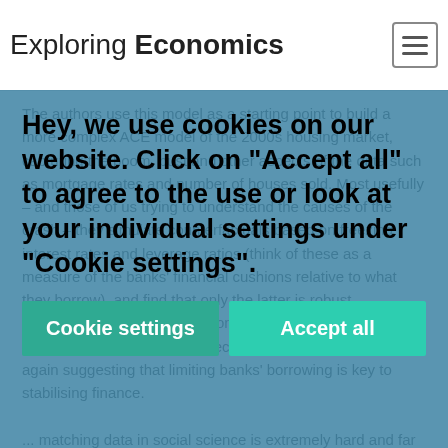Exploring Economics
The authors use this model as a starting point to build a more complex ACE model of the 2000s housing market, capturing the boom, bust and other aspects of the data such as mortgage rates and number of houses sold. Most usefully – and those of us trying to understand the causes of the crash – they simulate counterfactuals based on freezing interest rates and leverage ratios (think of these as a measure of the banks' financial cushions relative to what they borrow), and find that only the latter is robust. Incidentally, in the aforementioned Mark 1 model leverage is the key variable steering the economy onto a 'good' path, again suggesting that limiting banks' borrowing is key to stabilising finance.
... matching data in social science is extremely hard and far from the only aim of economic models, including ACE. In a 2006 article Marco Janssen and Elinor Ostrom (the first woman ever to win a Nobel Prize in economics) discuss the potential for empiricism in the ABM literature, discussing not only quantitative data but also the use of
Hey, we use cookies on our website. Click on "Accept all" to agree to the use or look at your individual settings under "Cookie settings".